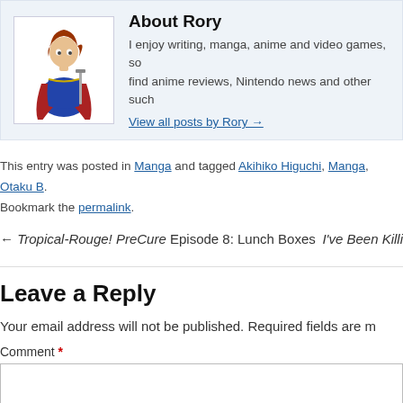[Figure (illustration): Author avatar: anime-style character with blue cape and red hair holding a sword]
About Rory
I enjoy writing, manga, anime and video games, so find anime reviews, Nintendo news and other such
View all posts by Rory →
This entry was posted in Manga and tagged Akihiko Higuchi, Manga, Otaku B. Bookmark the permalink.
← Tropical-Rouge! PreCure Episode 8: Lunch Boxes
I've Been Killi
Leave a Reply
Your email address will not be published. Required fields are m
Comment *